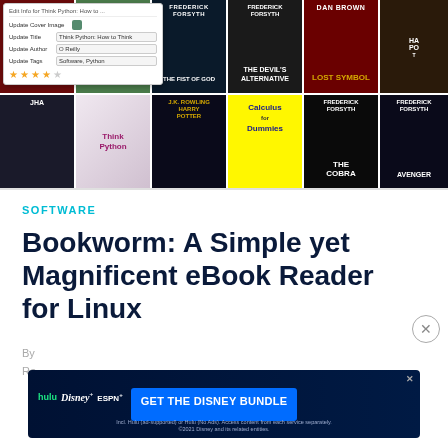[Figure (screenshot): Screenshot of Bookworm eBook reader application showing a grid of book covers including Frederick Forsyth, Dan Brown, Harry Potter, Think Python, Calculus for Dummies, and others. A popup dialog is visible over the first book showing 'Edit Info for Think Python: How to...' with fields for Update Cover Image, Update Title (Think Python: How to Think), Update Author (O Reilly), Update Tags (Software, Python), and a 4-star rating.]
SOFTWARE
Bookworm: A Simple yet Magnificent eBook Reader for Linux
[Figure (screenshot): Advertisement banner for Disney Bundle showing Hulu, Disney+, and ESPN+ logos with text 'GET THE DISNEY BUNDLE'. Fine print: 'Incl. Hulu (ad-supported) or Hulu (No Ads). Access content from each service separately. ©2021 Disney and its related entities.']